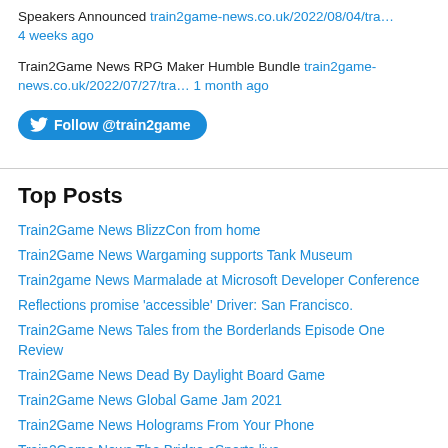Speakers Announced train2game-news.co.uk/2022/08/04/tra… 4 weeks ago
Train2Game News RPG Maker Humble Bundle train2game-news.co.uk/2022/07/27/tra… 1 month ago
[Figure (other): Follow @train2game button (Twitter follow button)]
Top Posts
Train2Game News BlizzCon from home
Train2Game News Wargaming supports Tank Museum
Train2game News Marmalade at Microsoft Developer Conference
Reflections promise 'accessible' Driver: San Francisco.
Train2Game News Tales from the Borderlands Episode One Review
Train2Game News Dead By Daylight Board Game
Train2Game News Global Game Jam 2021
Train2Game News Holograms From Your Phone
Train2Game News The Bridge eSports live